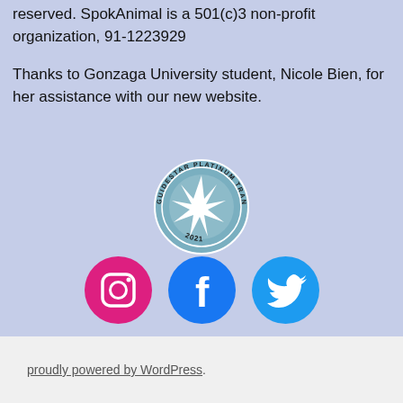reserved. SpokAnimal is a 501(c)3 non-profit organization, 91-1223929
Thanks to Gonzaga University student, Nicole Bien, for her assistance with our new website.
[Figure (logo): GuideStar Platinum Transparency 2021 seal badge]
[Figure (logo): Social media icons: Instagram, Facebook, Twitter]
proudly powered by WordPress.